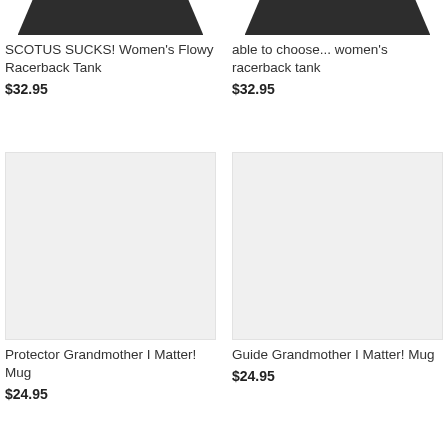[Figure (photo): Dark colored women's flowy racerback tank top, cropped view showing bottom portion]
SCOTUS SUCKS! Women's Flowy Racerback Tank
$32.95
[Figure (photo): Dark colored women's racerback tank, cropped view showing bottom portion]
able to choose... women's racerback tank
$32.95
[Figure (photo): Protector Grandmother I Matter! Mug - placeholder image with light gray background]
Protector Grandmother I Matter! Mug
$24.95
[Figure (photo): Guide Grandmother I Matter! Mug - placeholder image with light gray background]
Guide Grandmother I Matter! Mug
$24.95